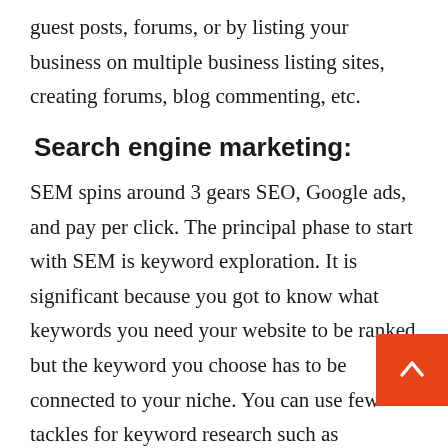guest posts, forums, or by listing your business on multiple business listing sites, creating forums, blog commenting, etc.
Search engine marketing:
SEM spins around 3 gears SEO, Google ads, and pay per click. The principal phase to start with SEM is keyword exploration. It is significant because you got to know what keywords you need your website to be ranked but the keyword you choose has to be connected to your niche. You can use few tackles for keyword research such as SEMRUSH, UBERSUGGEST, Google keyword planner, etc. Now arises the Google ads, Google offers you a waged ad running a campaign where you can run your business ads which will produce you leads and upsurge your website traffic. Pay per click is likewise an ad running campaign but it is only visible on the search